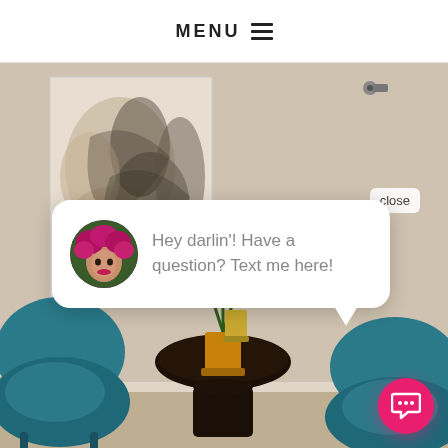MENU ≡
[Figure (photo): Interior waiting room with teal velvet chairs arranged around a dark circular table with a potted plant, an abstract painting on the cream wall, and a security camera visible near the ceiling.]
close
Hey darlin'! Have a question? Text me here!